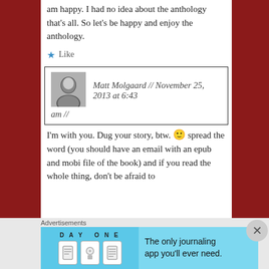am happy. I had no idea about the anthology that’s all. So let’s be happy and enjoy the anthology.
★ Like
Matt Molgaard // November 25, 2013 at 6:43 am //
I’m with you. Dug your story, btw. 🙂 spread the word (you should have an email with an epub and mobi file of the book) and if you read the whole thing, don’t be afraid to
Advertisements
[Figure (infographic): DAY ONE journaling app advertisement banner with icons and text: The only journaling app you'll ever need.]